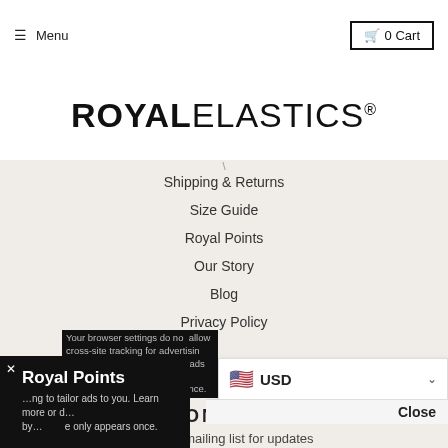Menu  |  0 Cart
ROYAL ELASTICS®
Shipping & Returns
Size Guide
Royal Points
Our Story
Blog
Privacy Policy
CONNECT
Join our mailing list for updates
Email
Your browser settings do not allow cross-site tracking for advertising. Accept to allow cross-site tracking or Advertising Preferences being to tailor ads to you. Learn more or changing by your preferences, this message only appears once.
Royal Points
USD